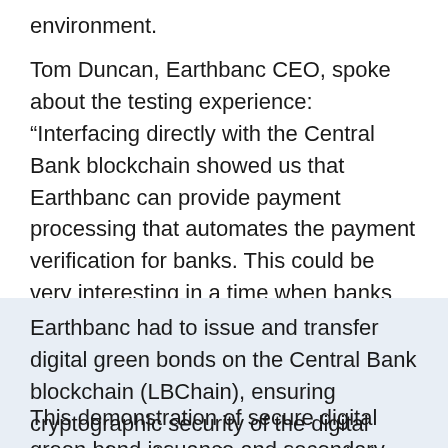environment.
Tom Duncan, Earthbanc CEO, spoke about the testing experience: “Interfacing directly with the Central Bank blockchain showed us that Earthbanc can provide payment processing that automates the payment verification for banks. This could be very interesting in a time when banks are looking to down-scale staff and automate reporting.”
Earthbanc had to issue and transfer digital green bonds on the Central Bank blockchain (LBChain), ensuring cryptographic security of the digital assets, in order to demonstrate their ‘battle-tested’ status.
This demonstration of secure digital green bond issuance and secondary